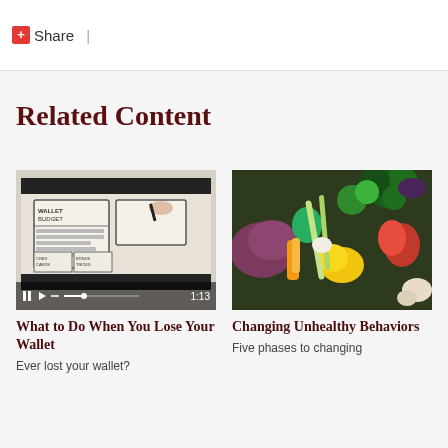Share |
Related Content
[Figure (screenshot): Video thumbnail showing a hand drawing a wallet budget diagram on a tablet, with video playback controls and timestamp 1:13]
What to Do When You Lose Your Wallet
Ever lost your wallet?
[Figure (photo): Overhead photo of colorful fresh vegetables including broccoli, peppers, corn, red cabbage, garlic, and other produce]
Changing Unhealthy Behaviors
Five phases to changing